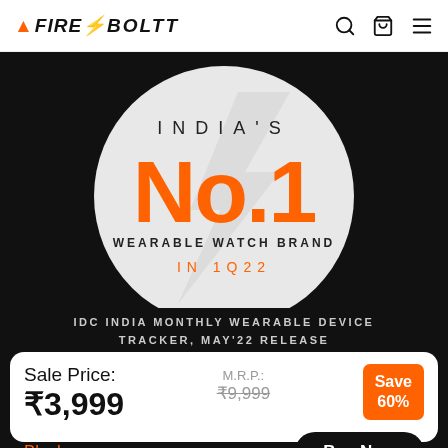FIRE-BOLTT
[Figure (infographic): India's No.1 Wearable Watch Brand in 1Q22 promotional badge — white circle on black background with lightning bolt watermark, orange No.1 text]
IDC INDIA MONTHLY WEARABLE DEVICE TRACKER, MAY'22 RELEASE
Sale Price: ₹3,999
M.R.P.: ₹9,999
Save 60%
Black
Buy Now